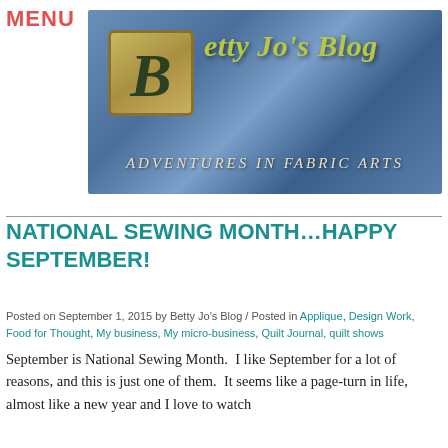MENU
[Figure (illustration): Betty Jo's Blog banner with decorative illuminated letter B in gold ornate box on blue fabric-textured background, with title 'Betty Jo's Blog' in yellow-green italic font and subtitle 'ADVENTURES IN FABRIC ARTS' in cream italic spaced letters]
NATIONAL SEWING MONTH...HAPPY SEPTEMBER!
Posted on September 1, 2015 by Betty Jo's Blog / Posted in Applique, Design Work, Food for Thought, My business, My micro-business, Quilt Journal, quilt shows
September is National Sewing Month.  I like September for a lot of reasons, and this is just one of them.  It seems like a page-turn in life, almost like a new year and I love to watch the leaves start to fr...